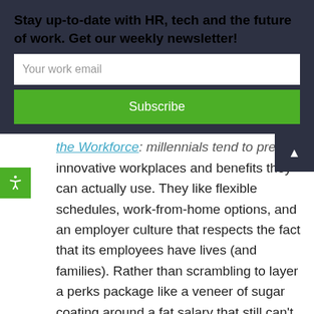Stay up-to-date with HR, tech and the future of work. Get our weekly newsletter!
Your work email
Subscribe
the Workforce: millennials tend to prefer innovative workplaces and benefits they can actually use. They like flexible schedules, work-from-home options, and an employer culture that respects the fact that its employees have lives (and families). Rather than scrambling to layer a perks package like a veneer of sugar coating around a fat salary that still can't match the offers of Silicon Valley giants (for instance), consider more enticing, millennial-relevant benefits. Align your employer brand and recruiting platforms to better speak to the most innovative workplace values.